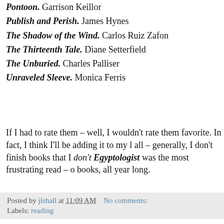Pontoon. Garrison Keillor
Publish and Perish. James Hynes
The Shadow of the Wind. Carlos Ruiz Zafon
The Thirteenth Tale. Diane Setterfield
The Unburied. Charles Palliser
Unraveled Sleeve. Monica Ferris
If I had to rate them - well, I wouldn't rate them. favorite. In fact, I think I'll be adding it to my l all - generally, I don't finish books that I don't Egyptologist was the most frustrating read - o books, all year long.
Posted by jlshall at 11:09 AM   No comments:
Labels: reading